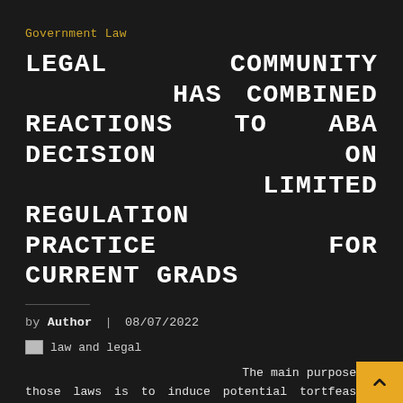Government Law
LEGAL COMMUNITY HAS COMBINED REACTIONS TO ABA DECISION ON LIMITED REGULATION PRACTICE FOR CURRENT GRADS
by Author | 08/07/2022
[Figure (illustration): Small broken image icon with label 'law and legal']
The main purpose of those laws is to induce potential tortfeasors (those who cause torts, or accidents) or criminals to internalize—that's, take account of—the exterior prices of their actions, though felony legislation has different features as properly. Law and economics stresses that markets are more environmentally friendly than courts. When attainable, the authorized system,